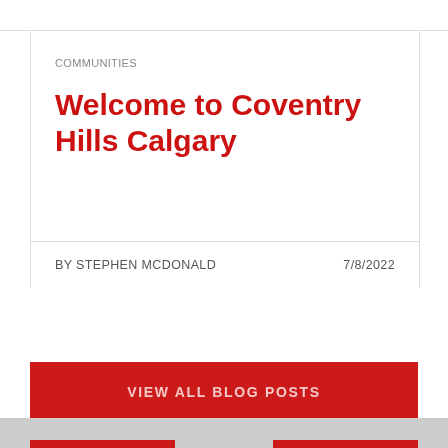COMMUNITIES
Welcome to Coventry Hills Calgary
BY STEPHEN MCDONALD   7/8/2022
VIEW ALL BLOG POSTS